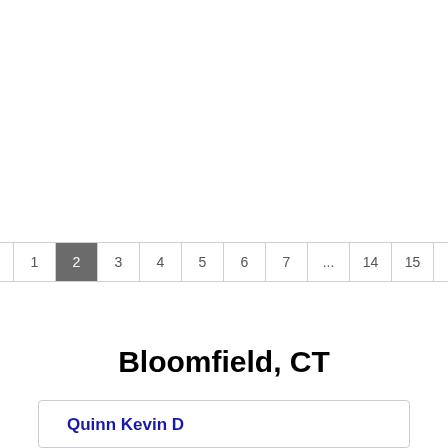[Figure (other): Pagination control showing pages: « 1 2 3 4 5 6 7 ... 14 15 », with page 2 highlighted in dark grey]
Bloomfield, CT
Quinn Kevin D